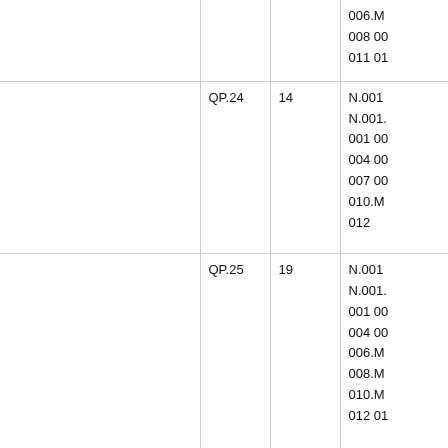|  |  |  |  |
| --- | --- | --- | --- |
|  |  | 006.M
008 00
011 01 |
| QP.24 | 14 | N.001
N.001.
001 00
004 00
007 00
010.M
012 |
| QP.25 | 19 | N.001
N.001.
001 00
004 00
006.M
008.M
010.M
012 01 |